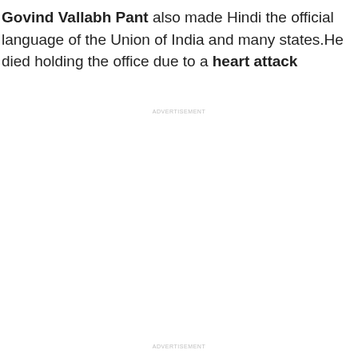Govind Vallabh Pant also made Hindi the official language of the Union of India and many states.He died holding the office due to a heart attack
ADVERTISEMENT
ADVERTISEMENT